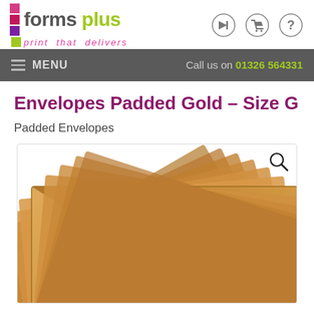[Figure (logo): Forms Plus logo with colored squares, text 'forms plus' and tagline 'print that delivers']
[Figure (infographic): Navigation icons: login arrow, shopping cart, help/question mark circle]
≡ MENU   Call us on 01326 564331
Envelopes Padded Gold – Size G
Padded Envelopes
[Figure (photo): Stack of gold/brown padded envelopes fanned out, with a magnifying glass search icon in the top right corner]